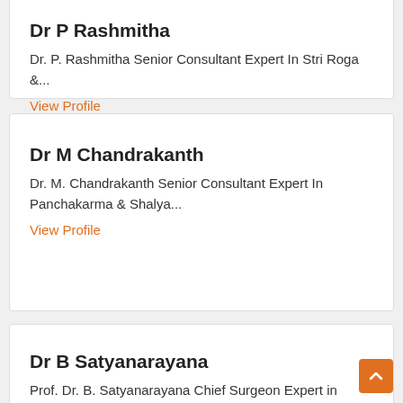Dr P Rashmitha
Dr. P. Rashmitha Senior Consultant Expert In Stri Roga &...
View Profile
Dr M Chandrakanth
Dr. M. Chandrakanth Senior Consultant Expert In Panchakarma & Shalya...
View Profile
Dr B Satyanarayana
Prof. Dr. B. Satyanarayana Chief Surgeon Expert in Shalya Make...
View Profile